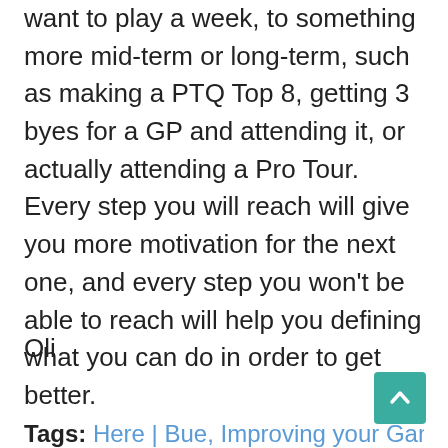want to play a week, to something more mid-term or long-term, such as making a PTQ Top 8, getting 3 byes for a GP and attending it, or actually attending a Pro Tour. Every step you will reach will give you more motivation for the next one, and every step you won't be able to reach will help you defining what you can do in order to get better.
Oli
[Figure (other): Teal/green scroll-to-top button with upward-pointing chevron arrow]
Tags: Here | Bue, Improving your Game